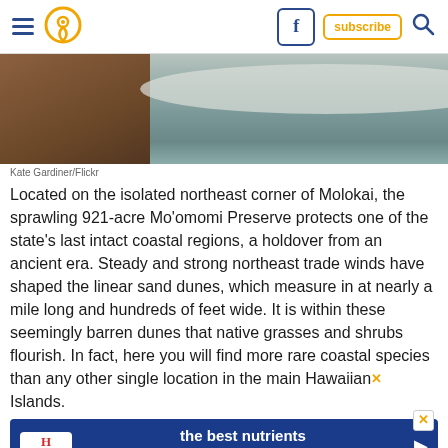Navigation header with hamburger menu, location pin icon, Facebook icon, subscribe button, and search icon
[Figure (photo): Coastal scene showing rocky brown cliffs on the left and churning ocean waves on the right]
Kate Gardiner/Flickr
Located on the isolated northeast corner of Molokai, the sprawling 921-acre Mo'omomi Preserve protects one of the state's last intact coastal regions, a holdover from an ancient era. Steady and strong northeast trade winds have shaped the linear sand dunes, which measure in at nearly a mile long and hundreds of feet wide. It is within these seemingly barren dunes that native grasses and shrubs flourish. In fact, here you will find more rare coastal species than any other single location in the main Hawaiian Islands.
[Figure (other): Advertisement banner for Hill's pet food: 'the best nutrients for their best life']
Read m...
6. Learn how honey is made at this bee farm